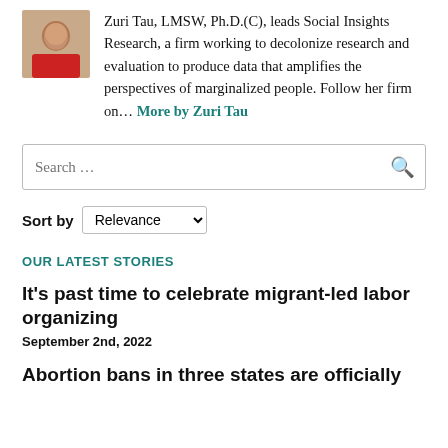[Figure (photo): Small portrait photo of Zuri Tau wearing red top, positioned top-left of bio section]
Zuri Tau, LMSW, Ph.D.(C), leads Social Insights Research, a firm working to decolonize research and evaluation to produce data that amplifies the perspectives of marginalized people. Follow her firm on… More by Zuri Tau
[Figure (other): Search input box with search icon]
Sort by Relevance
OUR LATEST STORIES
It's past time to celebrate migrant-led labor organizing
September 2nd, 2022
Abortion bans in three states are officially